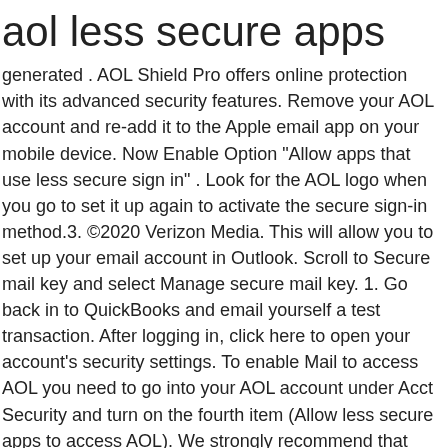aol less secure apps
generated . AOL Shield Pro offers online protection with its advanced security features. Remove your AOL account and re-add it to the Apple email app on your mobile device. Now Enable Option "Allow apps that use less secure sign in" . Look for the AOL logo when you go to set it up again to activate the secure sign-in method.3. ©2020 Verizon Media. This will allow you to set up your email account in Outlook. Scroll to Secure mail key and select Manage secure mail key. 1. Go back in to QuickBooks and email yourself a test transaction. After logging in, click here to open your account's security settings. To enable Mail to access AOL you need to go into your AOL account under Acct Security and turn on the fourth item (Allow less secure apps to access AOL). We strongly recommend that you switch to AOL's apps such as AOL Mail on desktop and mobile and remove your account from all other less secure apps. Since AOL owns these services, we can ensure you're always using the most secure sign-in technology when accessing your email.2. After that, choose Yahoo in Email Server (SMTP Server), or input the following information, and complete the settings on Reolink Client or Reolink App . If you still want to use an app that uses less secure sign in, go to https://login.aol.com/account/security#other-apps and turn on "Allow